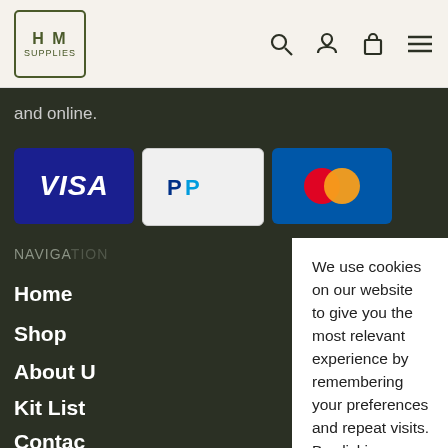HM Supplies — website header with logo and nav icons
and online.
[Figure (screenshot): Payment method logos: VISA, PayPal, Mastercard]
NAVIGATION
Home
Shop
About U...
Kit List
Contac...
We use cookies on our website to give you the most relevant experience by remembering your preferences and repeat visits. By clicking “Accept All”, you consent to the use of ALL the cookies. However, you may visit "Cookie Settings" to provide a controlled consent.